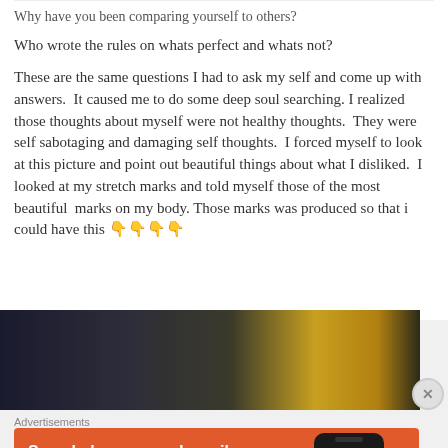Why have you been comparing yourself to others?
Who wrote the rules on whats perfect and whats not?
These are the same questions I had to ask my self and come up with answers.  It caused me to do some deep soul searching. I realized those thoughts about myself were not healthy thoughts.  They were self sabotaging and damaging self thoughts.  I forced myself to look at this picture and point out beautiful things about what I disliked.  I looked at my stretch marks and told myself those of the most beautiful  marks on my body. Those marks was produced so that i could have this 👇👇👇👇
[Figure (photo): A dark blurred photo with golden/orange bokeh light in the background]
Advertisements
[Figure (infographic): DuckDuckGo advertisement banner: orange background with text 'Search, browse, and email with more privacy.' and 'All in One Free App' button, plus a phone showing DuckDuckGo logo]